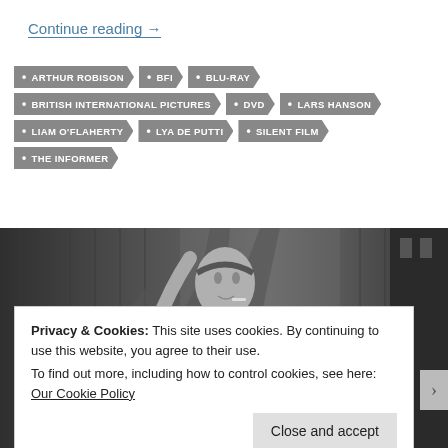Continue reading →
ARTHUR ROBISON
BFI
BLU-RAY
BRITISH INTERNATIONAL PICTURES
DVD
LARS HANSON
LIAM O'FLAHERTY
LYA DE PUTTI
SILENT FILM
THE INFORMER
[Figure (photo): Black and white photograph of a woman with a headband, arm raised, cigarette in mouth, against a curtained background]
Privacy & Cookies: This site uses cookies. By continuing to use this website, you agree to their use.
To find out more, including how to control cookies, see here: Our Cookie Policy
Close and accept